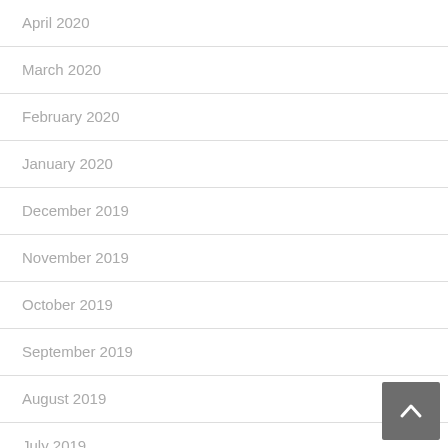April 2020
March 2020
February 2020
January 2020
December 2019
November 2019
October 2019
September 2019
August 2019
July 2019
June 2019
May 2019
April 2019
March 2019